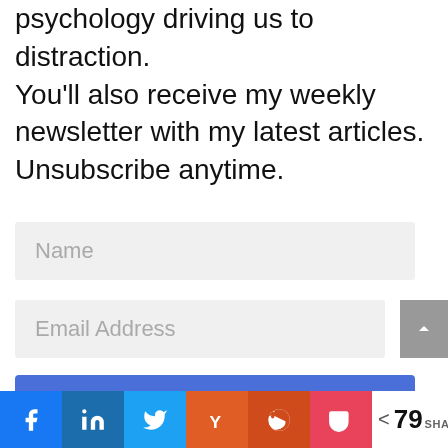You'll learn all about the hidden psychology driving us to distraction. You'll also receive my weekly newsletter with my latest articles. Unsubscribe anytime.
Name
Email Address
Download Now
< 79 SHARES